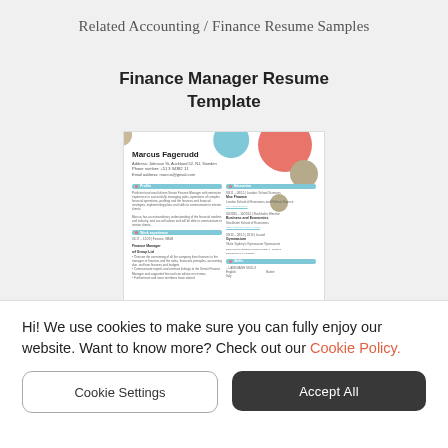Related Accounting / Finance Resume Samples
Finance Manager Resume Template
[Figure (screenshot): Thumbnail preview of a Finance Manager resume template for Marcus Fagerudd, showing a colorful two-column layout with decorative circles, sections for Profile, Education, Work experience, and Skills.]
Hi! We use cookies to make sure you can fully enjoy our website. Want to know more? Check out our Cookie Policy.
Cookie Settings
Accept All